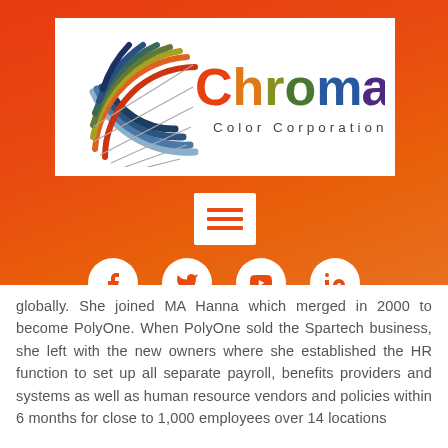[Figure (logo): Chroma Color Corporation logo with colorful fan/wheel design on the left and multicolored text 'Chroma Color Corporation' on the right]
[Figure (other): Menu/hamburger icon (three orange horizontal lines) in a white square]
[Figure (other): Row of four social media icons (Facebook, Twitter, YouTube, LinkedIn) as white circles with orange icons on red/orange gradient background]
globally. She joined MA Hanna which merged in 2000 to become PolyOne. When PolyOne sold the Spartech business, she left with the new owners where she established the HR function to set up all separate payroll, benefits providers and systems as well as human resource vendors and policies within 6 months for close to 1,000 employees over 14 locations